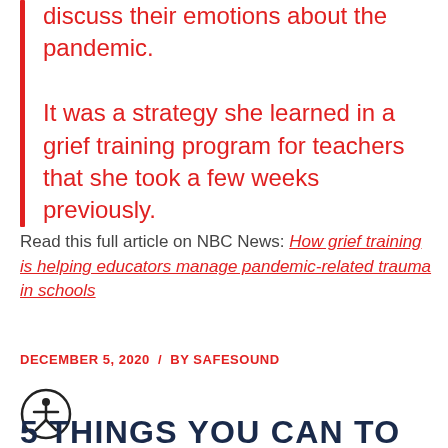discuss their emotions about the pandemic.

It was a strategy she learned in a grief training program for teachers that she took a few weeks previously.
Read this full article on NBC News: How grief training is helping educators manage pandemic-related trauma in schools
DECEMBER 5, 2020 / BY SAFESOUND
[Figure (illustration): Accessibility icon — circle with stick figure person with arms and legs spread]
5 THINGS YOU CAN TO